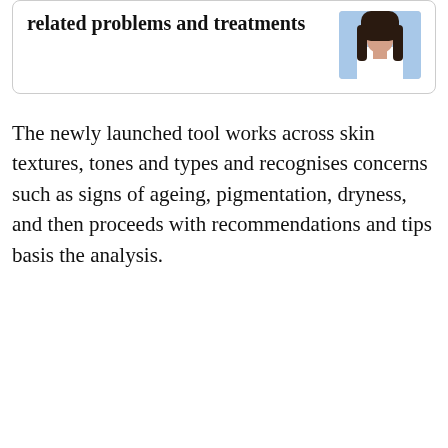related problems and treatments
[Figure (photo): Photo of a woman with long dark hair, partial view, upper body, light background]
The newly launched tool works across skin textures, tones and types and recognises concerns such as signs of ageing, pigmentation, dryness, and then proceeds with recommendations and tips basis the analysis.